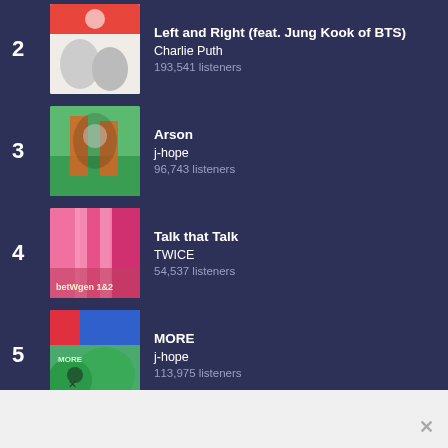2. Left and Right (feat. Jung Kook of BTS) — Charlie Puth — 193,541 listeners
3. Arson — j-hope — 96,743 listeners
4. Talk that Talk — TWICE — 54,537 listeners
5. MORE — j-hope — 113,975 listeners
View all trending tracks